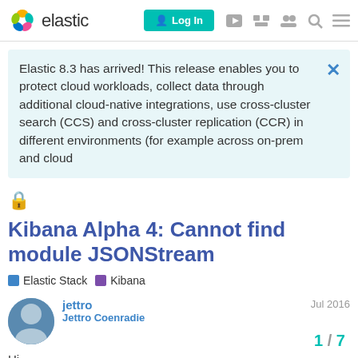elastic | Log In
Elastic 8.3 has arrived! This release enables you to protect cloud workloads, collect data through additional cloud-native integrations, use cross-cluster search (CCS) and cross-cluster replication (CCR) in different environments (for example across on-prem and cloud
Kibana Alpha 4: Cannot find module JSONStream
Elastic Stack  Kibana
jettro
Jettro Coenradie
Jul 2016
Hi,
I am trying to run Kibana Alpha 4 together with elasticsearch alpha 4, when starting Kibana I get the foll
1 / 7